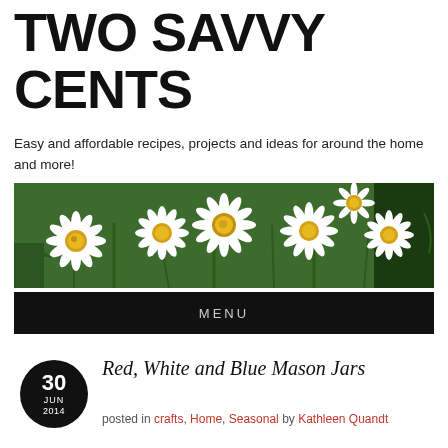TWO SAVVY CENTS
Easy and affordable recipes, projects and ideas for around the home and more!
[Figure (photo): A banner photograph of white daisy flowers with yellow centers against a green leafy background]
MENU
30 JUN 2014
Red, White and Blue Mason Jars
posted in crafts, Home, Seasonal by Kathleen Quandt